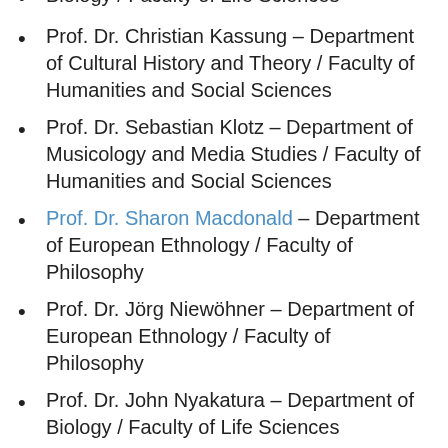Biology / Faculty of Life Sciences
Prof. Dr. Christian Kassung – Department of Cultural History and Theory / Faculty of Humanities and Social Sciences
Prof. Dr. Sebastian Klotz – Department of Musicology and Media Studies / Faculty of Humanities and Social Sciences
Prof. Dr. Sharon Macdonald – Department of European Ethnology / Faculty of Philosophy
Prof. Dr. Jörg Niewöhner – Department of European Ethnology / Faculty of Philosophy
Prof. Dr. John Nyakatura – Department of Biology / Faculty of Life Sciences
Prof. Dr. Jürgen Rabe – Department of Physics / Faculty of Mathematics and Natural Sciences
Prof. Dr. Wolfgang Schöffner – Department of